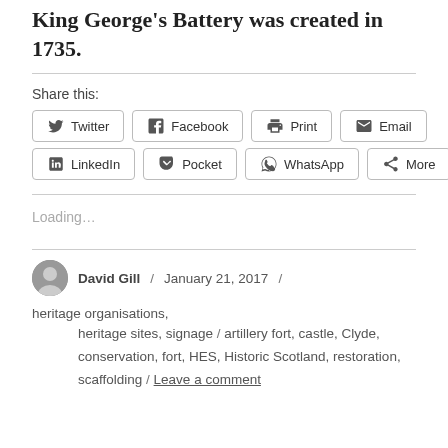King George's Battery was created in 1735.
Share this:
Twitter  Facebook  Print  Email  LinkedIn  Pocket  WhatsApp  More
Loading...
David Gill / January 21, 2017 / heritage organisations, heritage sites, signage / artillery fort, castle, Clyde, conservation, fort, HES, Historic Scotland, restoration, scaffolding / Leave a comment